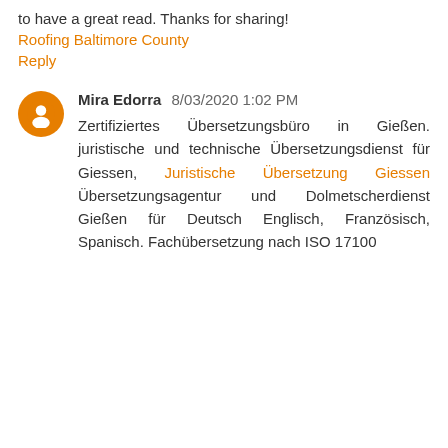to have a great read. Thanks for sharing!
Roofing Baltimore County
Reply
Mira Edorra 8/03/2020 1:02 PM
Zertifiziertes Übersetzungsbüro in Gießen. juristische und technische Übersetzungsdienst für Giessen, Juristische Übersetzung Giessen Übersetzungsagentur und Dolmetscherdienst Gießen für Deutsch Englisch, Französisch, Spanisch. Fachübersetzung nach ISO 17100